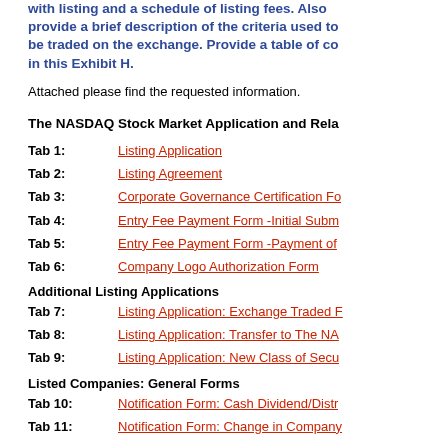with listing and a schedule of listing fees. Also provide a brief description of the criteria used to be traded on the exchange. Provide a table of co in this Exhibit H.
Attached please find the requested information.
The NASDAQ Stock Market Application and Rela
Tab 1:   Listing Application
Tab 2:   Listing Agreement
Tab 3:   Corporate Governance Certification Fo
Tab 4:   Entry Fee Payment Form -Initial Subm
Tab 5:   Entry Fee Payment Form -Payment of
Tab 6:   Company Logo Authorization Form
Additional Listing Applications
Tab 7:   Listing Application: Exchange Traded F
Tab 8:   Listing Application: Transfer to The NA
Tab 9:   Listing Application: New Class of Secu
Listed Companies: General Forms
Tab 10:  Notification Form: Cash Dividend/Distr
Tab 11:  Notification Form: Change in Company